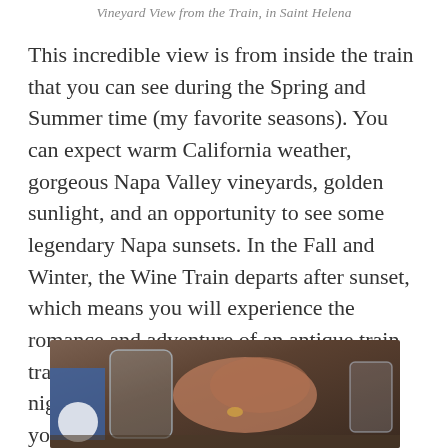Vineyard View from the Train, in Saint Helena
This incredible view is from inside the train that you can see during the Spring and Summer time (my favorite seasons). You can expect warm California weather, gorgeous Napa Valley vineyards, golden sunlight, and an opportunity to see some legendary Napa sunsets. In the Fall and Winter, the Wine Train departs after sunset, which means you will experience the romance and adventure of an antique train traveling through the dark Napa Valley night. The best time to visit depends on your preferences.
[Figure (photo): Photo taken from inside the Napa Valley Wine Train showing glasses and hands on a table]